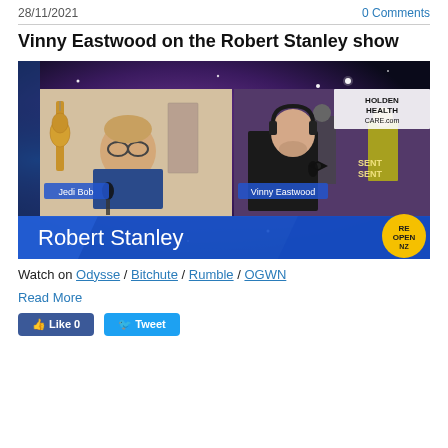28/11/2021   0 Comments
Vinny Eastwood on the Robert Stanley show
[Figure (screenshot): Video thumbnail/screenshot showing Robert Stanley show with two participants: 'Jedi Bob' on the left (man with glasses in a plaid shirt with a guitar visible in background) and 'Vinny Eastwood' on the right (man in black suit with bow tie and headphones). Space nebula background. 'HOLDEN HEALTH CARE.com' watermark in top right. 'Robert Stanley' text overlay and 'REOPEN NZ' badge in bottom right.]
Watch on Odysse / Bitchute / Rumble / OGWN
Read More
Like 0   Tweet